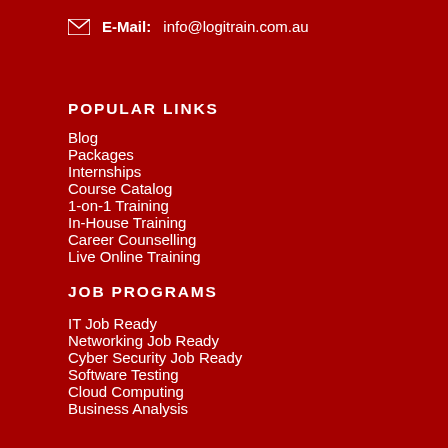E-Mail: info@logitrain.com.au
POPULAR LINKS
Blog
Packages
Internships
Course Catalog
1-on-1 Training
In-House Training
Career Counselling
Live Online Training
JOB PROGRAMS
IT Job Ready
Networking Job Ready
Cyber Security Job Ready
Software Testing
Cloud Computing
Business Analysis